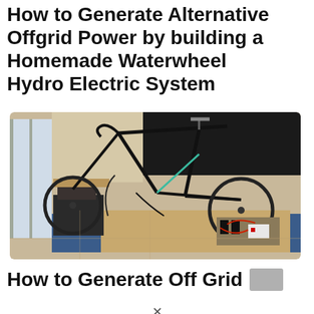How to Generate Alternative Offgrid Power by building a Homemade Waterwheel Hydro Electric System
[Figure (photo): A road bicycle mounted on a stand or trainer indoors, surrounded by cardboard, cables, and electronic components on a blue mat near a window with a large dark panel in the background.]
How to Generate Off Grid